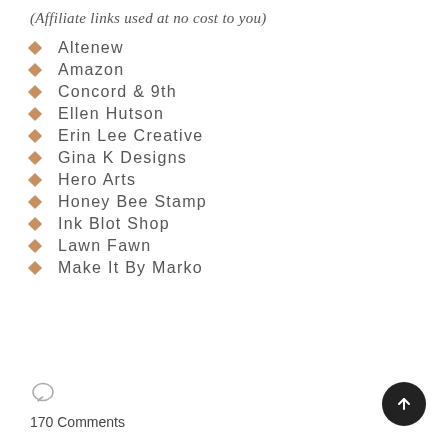(Affiliate links used at no cost to you)
Altenew
Amazon
Concord & 9th
Ellen Hutson
Erin Lee Creative
Gina K Designs
Hero Arts
Honey Bee Stamp
Ink Blot Shop
Lawn Fawn
Make It By Marko
170 Comments